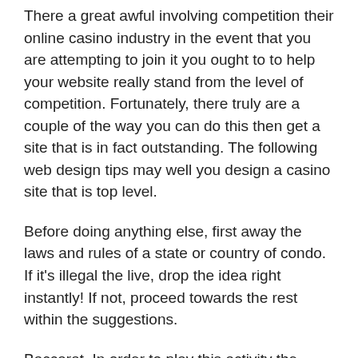There a great awful involving competition their online casino industry in the event that you are attempting to join it you ought to to help your website really stand from the level of competition. Fortunately, there truly are a couple of the way you can do this then get a site that is in fact outstanding. The following web design tips may well you design a casino site that is top level.
Before doing anything else, first away the laws and rules of a state or country of condo. If it's illegal the live, drop the idea right instantly! If not, proceed towards the rest within the suggestions.
Baccarat. In order to play this activity the player makes a bet before any cards are given. Money is either put on you winning or on the seller winning. Proceeding that the cards are dealt and the game